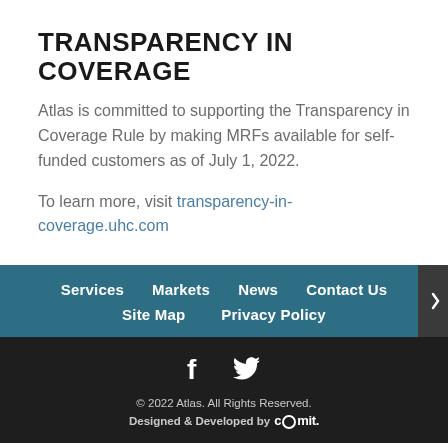TRANSPARENCY IN COVERAGE
Atlas is committed to supporting the Transparency in Coverage Rule by making MRFs available for self-funded customers as of July 1, 2022.
To learn more, visit transparency-in-coverage.uhc.com
Services | Markets | News | Contact Us | Site Map | Privacy Policy
© 2022 Atlas. All Rights Reserved. Designed & Developed by Comit.